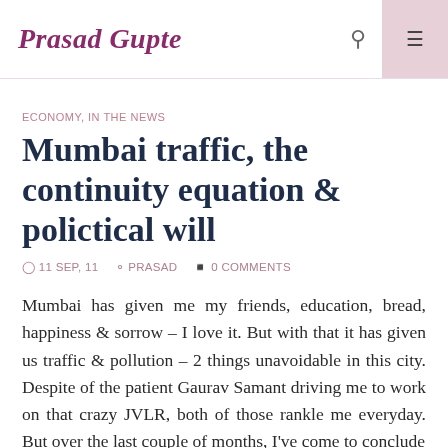Prasad Gupte
ECONOMY, IN THE NEWS
Mumbai traffic, the continuity equation & polictical will
11 SEP, 11  PRASAD  0 COMMENTS
Mumbai has given me my friends, education, bread, happiness & sorrow – I love it. But with that it has given us traffic & pollution – 2 things unavoidable in this city. Despite of the patient Gaurav Samant driving me to work on that crazy JVLR, both of those rankle me everyday. But over the last couple of months, I've come to conclude